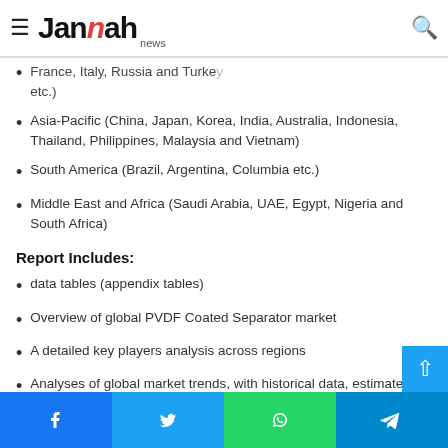Jannah news
France, Italy, Russia and Turkey etc.)
Asia-Pacific (China, Japan, Korea, India, Australia, Indonesia, Thailand, Philippines, Malaysia and Vietnam)
South America (Brazil, Argentina, Columbia etc.)
Middle East and Africa (Saudi Arabia, UAE, Egypt, Nigeria and South Africa)
Report Includes:
data tables (appendix tables)
Overview of global PVDF Coated Separator market
A detailed key players analysis across regions
Analyses of global market trends, with historical data, estimates for 2021 and projections of compound annual
Facebook | Twitter | WhatsApp | Telegram